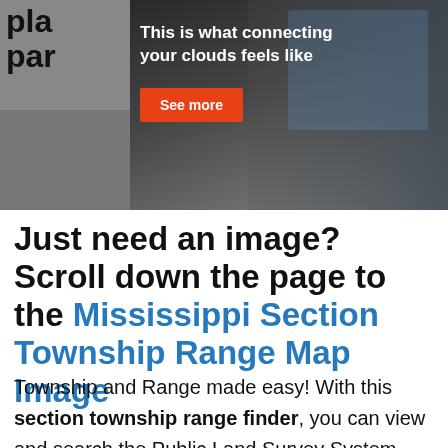[Figure (screenshot): Advertisement banner with dark background showing a person at a computer. Text overlay reads 'This is what connecting your clouds feels like' with a red 'See more' button. Left side shows partial text 'pla' and 'par' from underlying page.]
Just need an image? Scroll down the page to the Mississippi Section Township Range Map Image
Township and Range made easy! With this section township range finder, you can view and search the Public Land Survey System (PLSS), also known as Congressional townships or survey townships, all the way down to the section, quarter section and quarter quarter section level anywhere in Mississippi, all overlaid on a fully interactive Google Map. Optionally, add section township range labels, and overlay